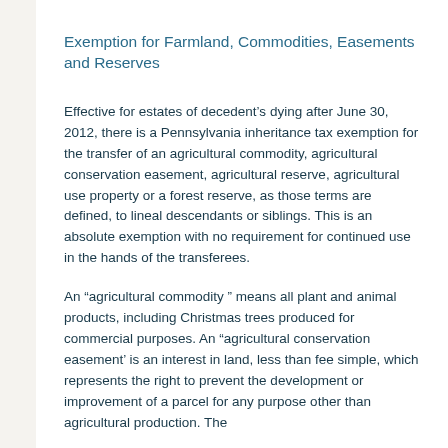Exemption for Farmland, Commodities, Easements and Reserves
Effective for estates of decedent's dying after June 30, 2012, there is a Pennsylvania inheritance tax exemption for the transfer of an agricultural commodity, agricultural conservation easement, agricultural reserve, agricultural use property or a forest reserve, as those terms are defined, to lineal descendants or siblings. This is an absolute exemption with no requirement for continued use in the hands of the transferees.
An “agricultural commodity ” means all plant and animal products, including Christmas trees produced for commercial purposes. An “agricultural conservation easement’ is an interest in land, less than fee simple, which represents the right to prevent the development or improvement of a parcel for any purpose other than agricultural production. The